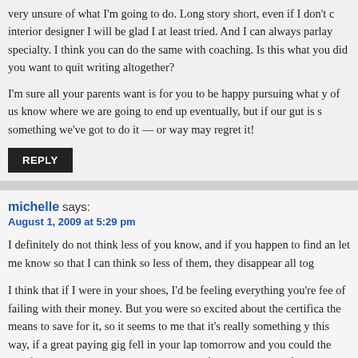very unsure of what I'm going to do. Long story short, even if I don't become an interior designer I will be glad I at least tried. And I can always parlay it into a specialty. I think you can do the same with coaching. Is this what you wanted, or did you want to quit writing altogether?
I'm sure all your parents want is for you to be happy pursuing what you love. None of us know where we are going to end up eventually, but if our gut is telling us something we've got to do it — or way may regret it!
REPLY
michelle says:
August 1, 2009 at 5:29 pm
I definitely do not think less of you know, and if you happen to find any who do, let me know so that I can think so less of them, they disappear all tog…
I think that if I were in your shoes, I'd be feeling everything you're fee… of failing with their money. But you were so excited about the certifica… the means to save for it, so it seems to me that it's really something y… this way, if a great paying gig fell in your lap tomorrow and you could … the certification right away, would you do it? If yes, then think of the lo…